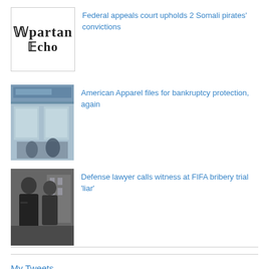[Figure (logo): Spartan Echo newspaper logo in blackletter/gothic font]
Federal appeals court upholds 2 Somali pirates' convictions
[Figure (photo): Photo of an American Apparel store front with display windows]
American Apparel files for bankruptcy protection, again
[Figure (photo): Photo of people in dark clothing, likely at FIFA bribery trial]
Defense lawyer calls witness at FIFA bribery trial 'liar'
My Tweets